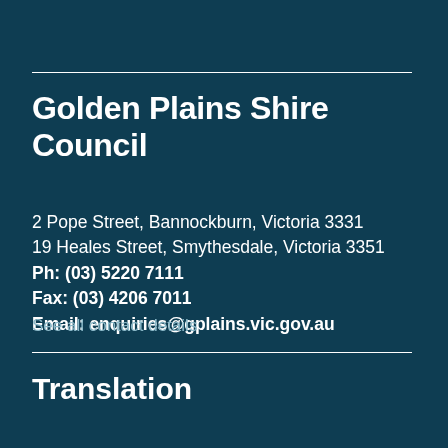Golden Plains Shire Council
2 Pope Street, Bannockburn, Victoria 3331
19 Heales Street, Smythesdale, Victoria 3351
Ph: (03) 5220 7111
Fax: (03) 4206 7011
Email: enquiries@gplains.vic.gov.au
See all contact details
Translation